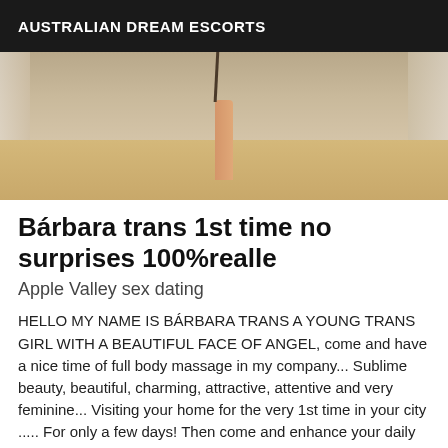AUSTRALIAN DREAM ESCORTS
[Figure (photo): Partial photo showing legs and feet of a person standing on a wooden floor, with light curtains in the background]
Bárbara trans 1st time no surprises 100%realle
Apple Valley sex dating
HELLO MY NAME IS BÁRBARA TRANS A YOUNG TRANS GIRL WITH A BEAUTIFUL FACE OF ANGEL, come and have a nice time of full body massage in my company... Sublime beauty, beautiful, charming, attractive, attentive and very feminine... Visiting your home for the very 1st time in your city ..... For only a few days! Then come and enhance your daily life with a very good soothing massage, a magical moment... of relaxation, of intense well-being, escape and relaxation in my company... And I invite you to spend exceptional